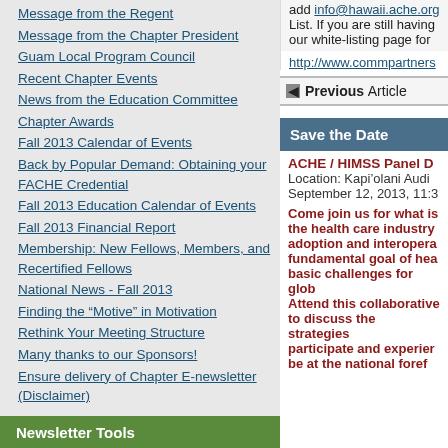Message from the Regent
Message from the Chapter President
Guam Local Program Council
Recent Chapter Events
News from the Education Committee
Chapter Awards
Fall 2013 Calendar of Events
Back by Popular Demand: Obtaining your FACHE Credential
Fall 2013 Education Calendar of Events
Fall 2013 Financial Report
Membership: New Fellows, Members, and Recertified Fellows
National News - Fall 2013
Finding the "Motive" in Motivation
Rethink Your Meeting Structure
Many thanks to our Sponsors!
Ensure delivery of Chapter E-newsletter (Disclaimer)
Newsletter Tools
Search Past Issues
Print Friendly Article
add info@hawaii.ache.org List. If you are still having our white-listing page for
http://www.commpartners
Previous Article
Save the Date
ACHE / HIMSS Panel D Location: Kapi'olani Audi September 12, 2013, 11:3
Come join us for what is the health care industry adoption and interopera fundamental goal of hea basic challenges for glob Attend this collaborative to discuss the strategies participate and experier be at the national foref